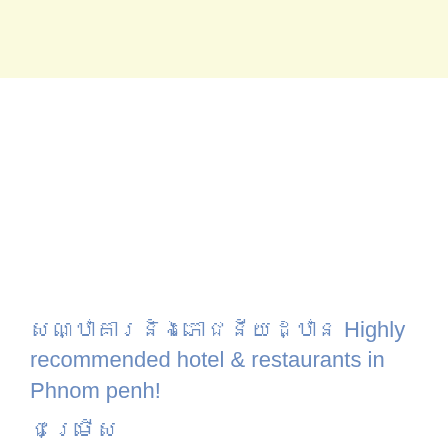[Figure (other): Light yellow banner/header strip at the top of the page]
សណ្ឋាគារនិងភោជនីយដ្ឋាន Highly recommended hotel & restaurants in Phnom penh!
ជម្រើស